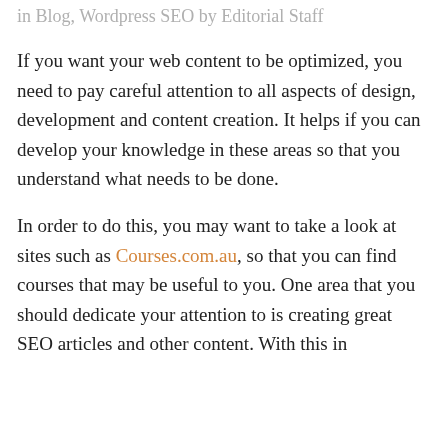in Blog, Wordpress SEO by Editorial Staff
If you want your web content to be optimized, you need to pay careful attention to all aspects of design, development and content creation. It helps if you can develop your knowledge in these areas so that you understand what needs to be done.
In order to do this, you may want to take a look at sites such as Courses.com.au, so that you can find courses that may be useful to you. One area that you should dedicate your attention to is creating great SEO articles and other content. With this in